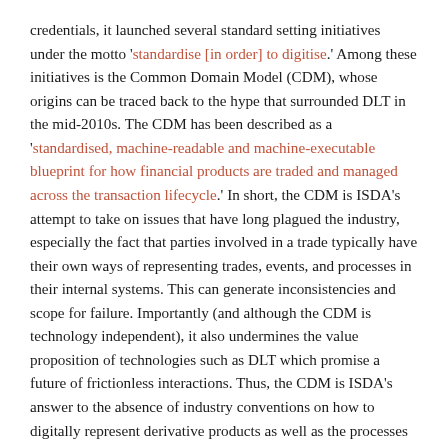credentials, it launched several standard setting initiatives under the motto 'standardise [in order] to digitise.' Among these initiatives is the Common Domain Model (CDM), whose origins can be traced back to the hype that surrounded DLT in the mid-2010s. The CDM has been described as a 'standardised, machine-readable and machine-executable blueprint for how financial products are traded and managed across the transaction lifecycle.' In short, the CDM is ISDA's attempt to take on issues that have long plagued the industry, especially the fact that parties involved in a trade typically have their own ways of representing trades, events, and processes in their internal systems. This can generate inconsistencies and scope for failure. Importantly (and although the CDM is technology independent), it also undermines the value proposition of technologies such as DLT which promise a future of frictionless interactions. Thus, the CDM is ISDA's answer to the absence of industry conventions on how to digitally represent derivative products as well as the processes and events that affect these products over their lifetime. It was developed by a London-based RegTech firm, REGnosys, and